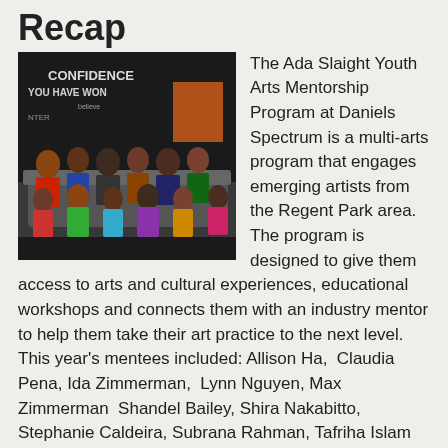Recap
[Figure (photo): Group photo of youth participants sitting together in a room with motivational text on the wall including 'CONFIDENCE' and 'YOU HAVE WON']
The Ada Slaight Youth Arts Mentorship Program at Daniels Spectrum is a multi-arts program that engages emerging artists from the Regent Park area. The program is designed to give them access to arts and cultural experiences, educational workshops and connects them with an industry mentor to help them take their art practice to the next level. This year's mentees included: Allison Ha,  Claudia Pena, Ida Zimmerman,  Lynn Nguyen, Max Zimmerman  Shandel Bailey, Shira Nakabitto, Stephanie Caldeira, Subrana Rahman, Tafriha Islam and  Yvie Ramos.
Like previous years, these participants are an extremely talented bunch, representing a variety of art forms and